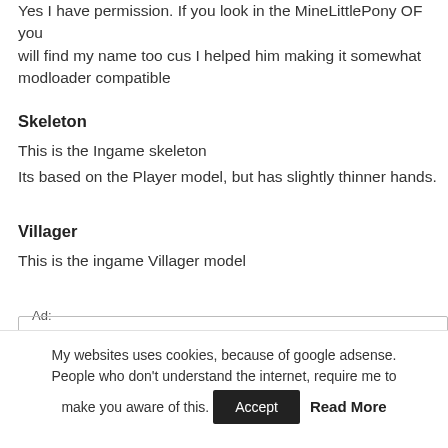Yes I have permission. If you look in the MineLittlePony OF you will find my name too cus I helped him making it somewhat modloader compatible
Skeleton
This is the Ingame skeleton
Its based on the Player model, but has slightly thinner hands.
Villager
This is the ingame Villager model
Ad:
My websites uses cookies, because of google adsense. People who don't understand the internet, require me to make you aware of this.